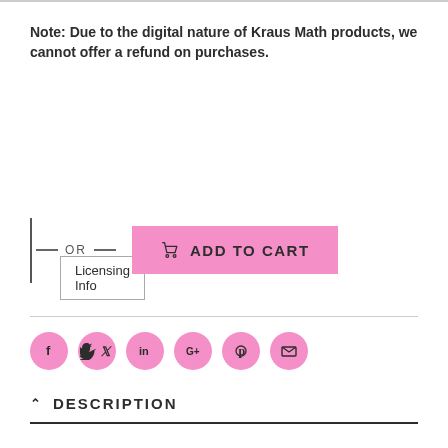Note: Due to the digital nature of Kraus Math products, we cannot offer a refund on purchases.
Licensing Info
OR  ADD TO CART
[Figure (other): Social share icons: Facebook, Twitter, LinkedIn, Google+, Pinterest, Email — pink circular buttons]
DESCRIPTION